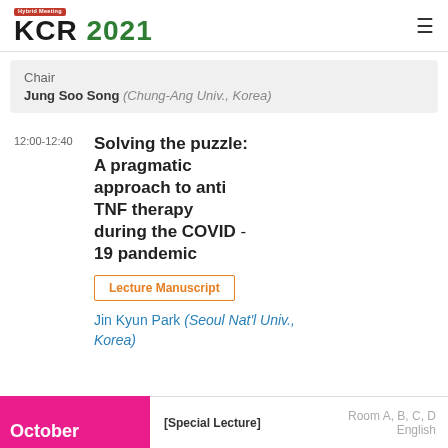KCR 2021 Hybrid Meeting
Chair
Jung Soo Song (Chung-Ang Univ., Korea)
12:00-12:40
Solving the puzzle: A pragmatic approach to anti TNF therapy during the COVID-19 pandemic
Lecture Manuscript
Jin Kyun Park (Seoul Nat'l Univ., Korea)
[Special Lecture]
Room A, B, C, D
English
October